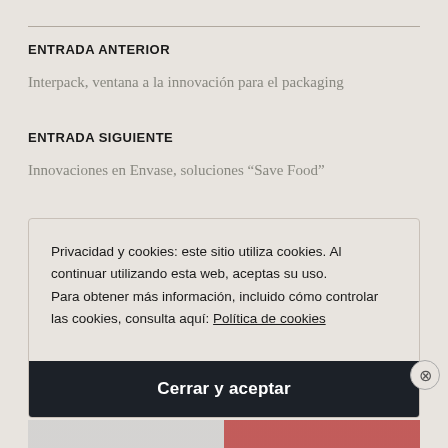ENTRADA ANTERIOR
Interpack, ventana a la innovación para el packaging
ENTRADA SIGUIENTE
Innovaciones en Envase, soluciones “Save Food”
Privacidad y cookies: este sitio utiliza cookies. Al continuar utilizando esta web, aceptas su uso. Para obtener más información, incluido cómo controlar las cookies, consulta aquí: Política de cookies
Cerrar y aceptar